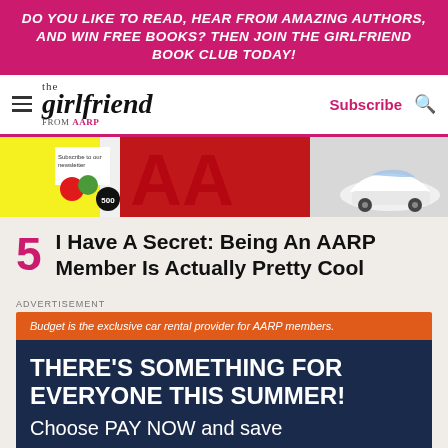DO YOU LIKE TO READ, HEAR FROM AMAZING AUTHORS, AND WIN FREE BOOKS? THEN JOIN THE GIRLFRIEND BOOK CLUB TODAY!
[Figure (logo): The Girlfriend from AARP logo with hamburger menu, Subscribe link and search icon in navigation bar]
[Figure (photo): Partial image showing AARP magazine/materials with a white Ford Mustang convertible]
5 I Have A Secret: Being An AARP Member Is Actually Pretty Cool
ADVERTISEMENT
Budget is the exclusive car rental provider for AARP members.
THERE'S SOMETHING FOR EVERYONE THIS SUMMER! Choose PAY NOW and save